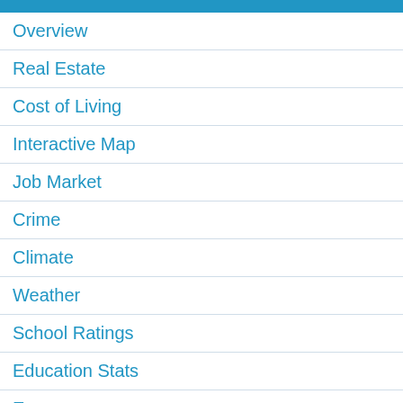Overview
Real Estate
Cost of Living
Interactive Map
Job Market
Crime
Climate
Weather
School Ratings
Education Stats
Economy
Health
Religion
People Stats
Politics & Voting
Housing Stats
Commute Time
Rankings